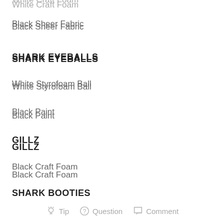White Craft Foam
Black Sheer Fabric
SHARK EYEBALLS
White Styrofoam Ball
Black Paint
GILLZ
Black Craft Foam
SHARK BOOTIES
Elastic
Tip   Question   Comment